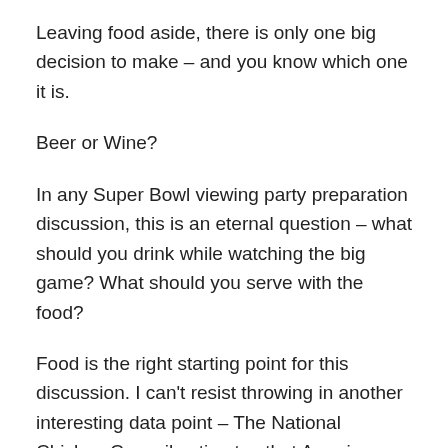Leaving food aside, there is only one big decision to make – and you know which one it is.
Beer or Wine?
In any Super Bowl viewing party preparation discussion, this is an eternal question – what should you drink while watching the big game? What should you serve with the food?
Food is the right starting point for this discussion. I can't resist throwing in another interesting data point – The National Chicken Council estimates that Americans will consume 1.42 billion wings while the Cincinnati Bengals play the Los Angeles Rams. Yep – 1.42 billion! Super Bowl is a finger food festival – sandwiches, chicken strips, shrimp, chicken wings, and lots of other usually salty and